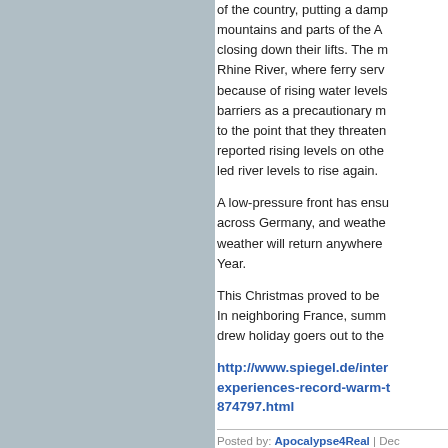of the country, putting a damp... mountains and parts of the A... closing down their lifts. The m... Rhine River, where ferry serv... because of rising water levels... barriers as a precautionary m... to the point that they threaten... reported rising levels on othe... led river levels to rise again.
A low-pressure front has ensu... across Germany, and weathe... weather will return anywhere... Year.
This Christmas proved to be... In neighboring France, summ... drew holiday goers out to the...
http://www.spiegel.de/inter... experiences-record-warm-t... 874797.html
Posted by: Apocalypse4Real | Dec...